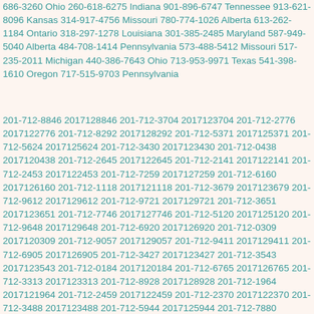686-3260 Ohio 260-618-6275 Indiana 901-896-6747 Tennessee 913-621-8096 Kansas 314-917-4756 Missouri 780-774-1026 Alberta 613-262-1184 Ontario 318-297-1278 Louisiana 301-385-2485 Maryland 587-949-5040 Alberta 484-708-1414 Pennsylvania 573-488-5412 Missouri 517-235-2011 Michigan 440-386-7643 Ohio 713-953-9971 Texas 541-398-1610 Oregon 717-515-9703 Pennsylvania
201-712-8846 2017128846 201-712-3704 2017123704 201-712-2776 2017122776 201-712-8292 2017128292 201-712-5371 2017125371 201-712-5624 2017125624 201-712-3430 2017123430 201-712-0438 2017120438 201-712-2645 2017122645 201-712-2141 2017122141 201-712-2453 2017122453 201-712-7259 2017127259 201-712-6160 2017126160 201-712-1118 2017121118 201-712-3679 2017123679 201-712-9612 2017129612 201-712-9721 2017129721 201-712-3651 2017123651 201-712-7746 2017127746 201-712-5120 2017125120 201-712-9648 2017129648 201-712-6920 2017126920 201-712-0309 2017120309 201-712-9057 2017129057 201-712-9411 2017129411 201-712-6905 2017126905 201-712-3427 2017123427 201-712-3543 2017123543 201-712-0184 2017120184 201-712-6765 2017126765 201-712-3313 2017123313 201-712-8928 2017128928 201-712-1964 2017121964 201-712-2459 2017122459 201-712-2370 2017122370 201-712-3488 2017123488 201-712-5944 2017125944 201-712-7880 2017127880 201-712-8782 2017128782 201-712-7692 2017127692 201-712-2277 2017122277 201-712-1748 2017121748 201-712-2785 2017122785 201-712-5852 2017125852 201-712-1006 2017121006 201-712-0746 2017120746 201-712-2142 2017122142 201-712-7517 2017127517 201-712-1802 2017121802 201-712-5548 2017125548 201-